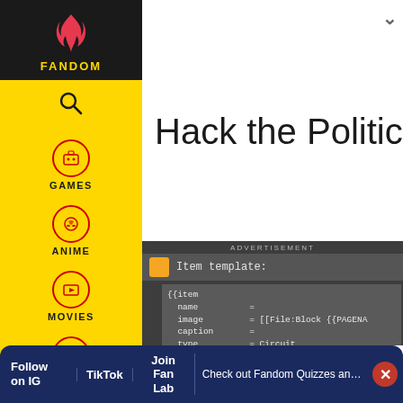[Figure (screenshot): Fandom website left navigation sidebar with logo, search, Games, Anime, Movies, TV, Video icons on yellow background]
Hack the Political Syste…
ADVERTISEMENT
Item template:
[Figure (screenshot): Code block showing wiki item template with fields: name, image = [[File:Block {{PAGENAME...}}, caption, type = Circuit, transparency, luminance, blast, tool = [[File:Grid_Screwdriv...]], renew, stack = No, data, emc, mod]
Follow on IG  TikTok  Join Fan Lab  Check out Fandom Quizzes and cha…